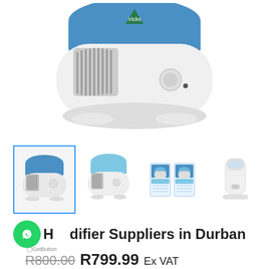[Figure (photo): Large photo of a Vicks brand white and blue humidifier, showing the front view with grille, knob, and blue water tank top.]
[Figure (photo): Row of four thumbnail product images: first thumbnail (highlighted with blue border) shows humidifier front view, second shows humidifier slightly angled, third shows product packaging with two boxes, fourth shows tall slim white humidifier.]
Humidifier Suppliers in Durban
GetButton
R800.00  R799.99 Ex VAT